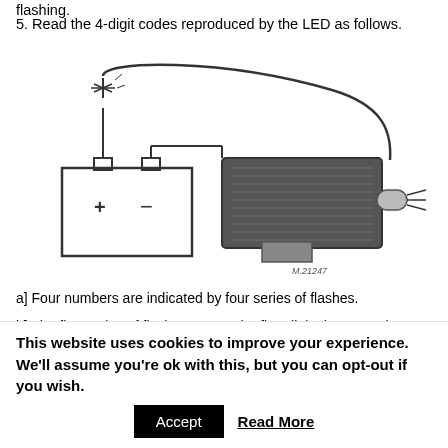flashing.
5. Read the 4-digit codes reproduced by the LED as follows.
[Figure (illustration): Technical illustration showing a battery (with + and - terminals) connected by wires to an electronic component/module being probed. A wire goes from the battery up through an LED-like component and connects to the device. The device appears to be a circuit board or module with a probe/connector. Labeled M.21247 at bottom right.]
a] Four numbers are indicated by four series of flashes.
b] The first series of flashes means the first digit, the second series indicates the second digit, and so on, up to the fourth
This website uses cookies to improve your experience. We'll assume you're ok with this, but you can opt-out if you wish.
Accept    Read More